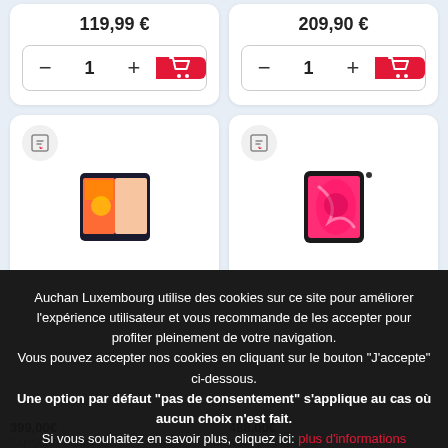[Figure (screenshot): E-commerce product listing page (Auchan Luxembourg) showing two product cards at top with quantity selectors and add-to-cart buttons, prices partially visible (119,99€ and 209,90€). Below, two more product cards with tablet images (Samsung and Apple iPad mini). A cookie consent overlay covers the lower half of the page with accept/refuse buttons.]
Auchan Luxembourg utilise des cookies sur ce site pour améliorer l'expérience utilisateur et vous recommande de les accepter pour profiter pleinement de votre navigation. Vous pouvez accepter nos cookies en cliquant sur le bouton "J'accepte" ci-dessous. Une option par défaut "pas de consentement" s'applique au cas où aucun choix n'est fait. Si vous souhaitez en savoir plus, cliquez ici: plus d'informations
J'ACCEPTE
JE REFUSE